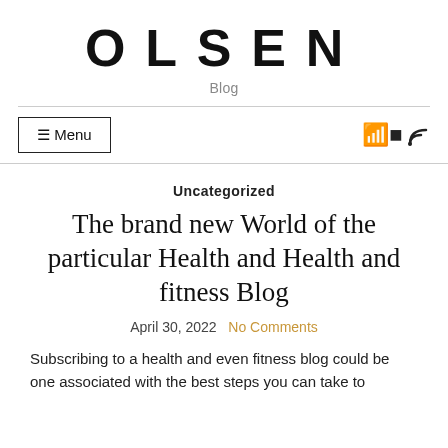OLSEN
Blog
☰ Menu
Uncategorized
The brand new World of the particular Health and Health and fitness Blog
April 30, 2022  No Comments
Subscribing to a health and even fitness blog could be one associated with the best steps you can take to